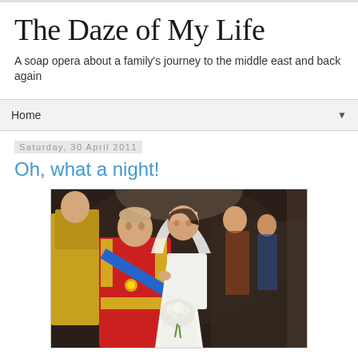The Daze of My Life
A soap opera about a family's journey to the middle east and back again
Home
Saturday, 30 April 2011
Oh, what a night!
[Figure (photo): A man in a red military uniform with gold epaulettes and blue sash holding hands with a woman in a white wedding dress and veil, smiling at each other, with other people visible in the background.]